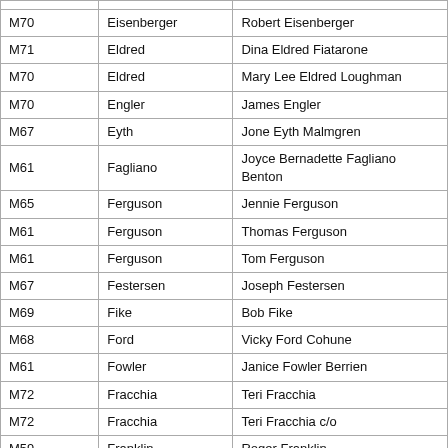| M70 | Eisenberger | Robert Eisenberger |
| M71 | Eldred | Dina Eldred Fiatarone |
| M70 | Eldred | Mary Lee Eldred Loughman |
| M70 | Engler | James Engler |
| M67 | Eyth | Jone Eyth Malmgren |
| M61 | Fagliano | Joyce Bernadette Fagliano Benton |
| M65 | Ferguson | Jennie Ferguson |
| M61 | Ferguson | Thomas Ferguson |
| M61 | Ferguson | Tom Ferguson |
| M67 | Festersen | Joseph Festersen |
| M69 | Fike | Bob Fike |
| M68 | Ford | Vicky Ford Cohune |
| M61 | Fowler | Janice Fowler Berrien |
| M72 | Fracchia | Teri Fracchia |
| M72 | Fracchia | Teri Fracchia c/o |
| M59 | Franklin | Roger Franklin |
| M72 | Frombola | Deborah Frombola |